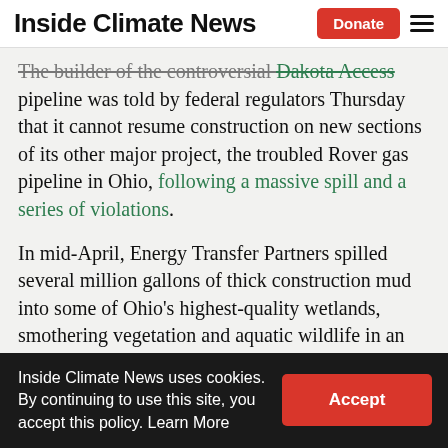Inside Climate News
The builder of the controversial Dakota Access pipeline was told by federal regulators Thursday that it cannot resume construction on new sections of its other major project, the troubled Rover gas pipeline in Ohio, following a massive spill and a series of violations.
In mid-April, Energy Transfer Partners spilled several million gallons of thick construction mud into some of Ohio’s highest-quality wetlands, smothering vegetation and aquatic wildlife in an area that helps filter water between farmland and nearby waterways.
Inside Climate News uses cookies. By continuing to use this site, you accept this policy. Learn More